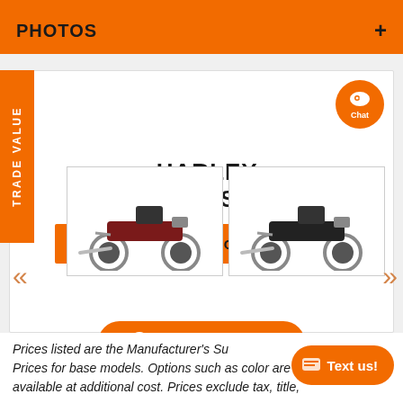PHOTOS +
[Figure (screenshot): Harley-Davidson website screenshot showing VIEW CRUISER MODELS button and two cruiser motorcycle images side by side, with Explore Payments overlay button and Chat/Trade Value UI elements]
Prices listed are the Manufacturer's Suggested Retail Prices for base models. Options such as color are available at additional cost. Prices exclude tax, title,